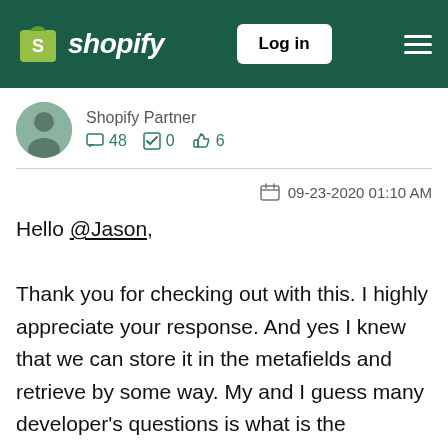Shopify — Log in
Shopify Partner  48  0  6
09-23-2020 01:10 AM
Hello @Jason,

Thank you for checking out with this. I highly appreciate your response. And yes I knew that we can store it in the metafields and retrieve by some way. My and I guess many developer's questions is what is the approach of doing this. Are we going to create a metafield for each customer separate or will push all customers in same. How are metafields going to be connected with the specific customer